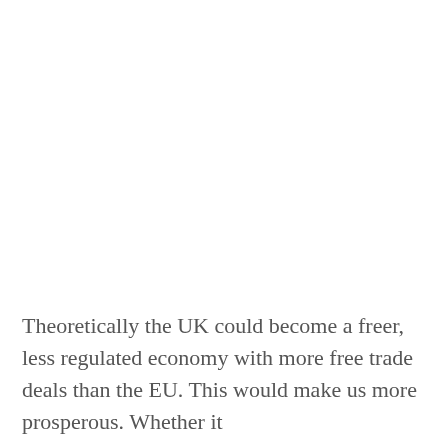Theoretically the UK could become a freer, less regulated economy with more free trade deals than the EU. This would make us more prosperous. Whether it